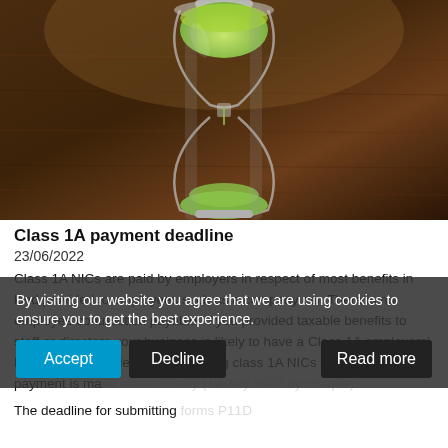[Figure (photo): Hourglass with green sand on a wooden surface, dark brown background]
Class 1A payment deadline
23/06/2022
Class 1A NICs are paid by employers in respect of most benefits in kind provided to employees such as a company car. There is no employee contribution payable. If you provided taxable benefits to staff or directors your business is likely to have a Class 1A employers' NIC liability. The deadline for paying class 1A NICs is 22 July 2022 if payment is made electronically (19 July 2022 by cheque).
The deadline for submitting forms P11D and P11D(b) is 6 July 2022. The forms can be submitted using commercial software
By visiting our website you agree that we are using cookies to ensure you to get the best experience.